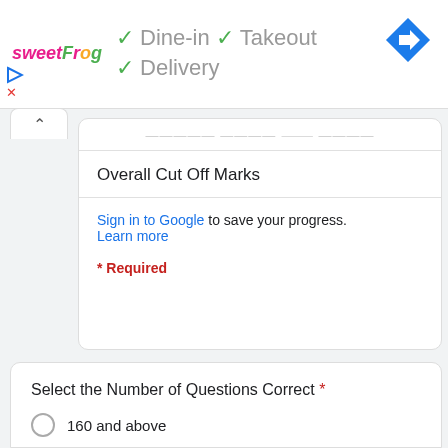[Figure (screenshot): Ad banner with sweetFrog logo and service options: Dine-in, Takeout, Delivery with green checkmarks, and a blue navigation arrow icon]
Overall Cut Off Marks
Sign in to Google to save your progress. Learn more
* Required
Select the Number of Questions Correct *
160 and above
156 - 160
151 - 155